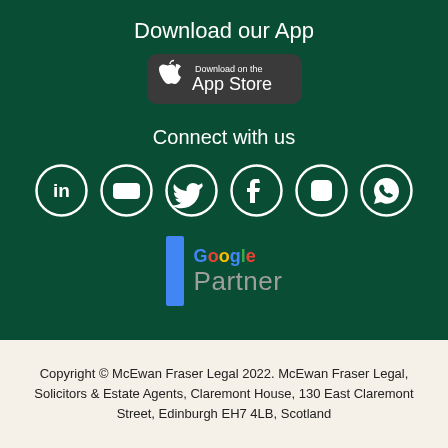Download our App
[Figure (logo): Apple App Store download badge]
Connect with us
[Figure (illustration): Six social media icons in circles: LinkedIn, YouTube, Twitter, Facebook, Instagram, WhatsApp]
[Figure (logo): Google Partner badge with blue vertical bar and Google Partner text]
Copyright © McEwan Fraser Legal 2022. McEwan Fraser Legal, Solicitors & Estate Agents, Claremont House, 130 East Claremont Street, Edinburgh EH7 4LB, Scotland